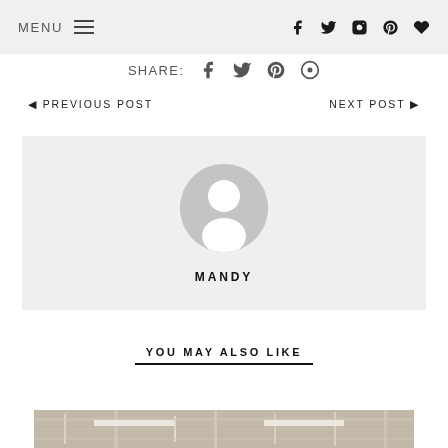MENU  (hamburger icon)  (facebook) (twitter) (instagram) (pinterest) (heart)
SHARE:
◄ PREVIOUS POST    NEXT POST ►
[Figure (photo): Author profile box with grey placeholder avatar and name MANDY]
YOU MAY ALSO LIKE
[Figure (photo): Partial preview of a room/ceiling interior photograph]